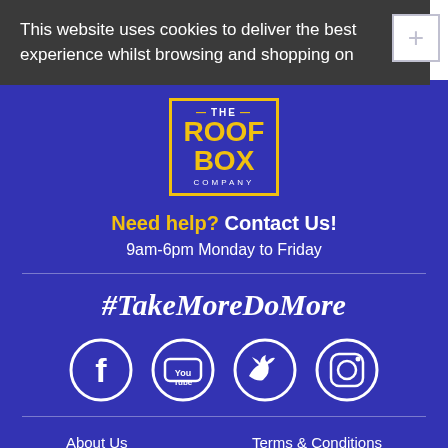This website uses cookies to deliver the best experience whilst browsing and shopping on
[Figure (logo): The Roof Box Company logo — yellow bordered rectangle with 'THE ROOF BOX COMPANY' text in yellow and white on blue background]
Need help? Contact Us!
9am-6pm Monday to Friday
#TakeMoreDoMore
[Figure (other): Social media icons in white circles: Facebook, YouTube, Twitter, Instagram]
About Us
Terms & Conditions
Contact Us
Cookie Policy